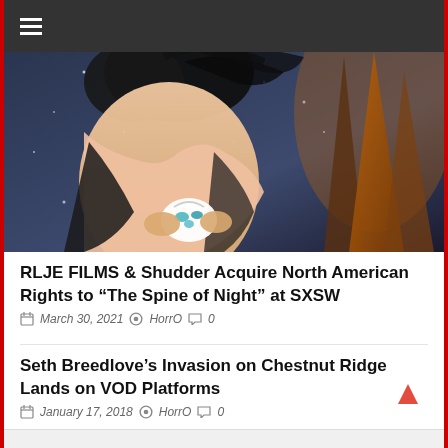≡ (hamburger menu)
[Figure (illustration): Animated illustration showing a dark-haired figure holding a white bird/creature, with dramatic rocky mountain background and falling snow, dark blue/purple atmospheric tones with warm orange light on rocks.]
RLJE FILMS & Shudder Acquire North American Rights to "The Spine of Night" at SXSW
March 30, 2021  HorrO  0
Seth Breedlove's Invasion on Chestnut Ridge Lands on VOD Platforms
January 17, 2018  HorrO  0